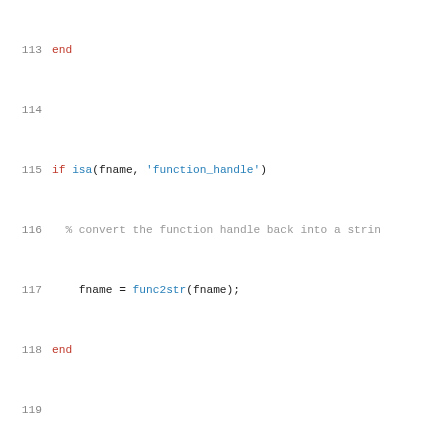MATLAB source code lines 113-135